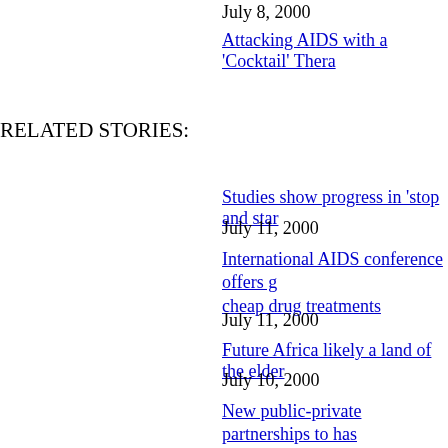July 8, 2000
Attacking AIDS with a 'Cocktail' Thera...
RELATED STORIES:
Studies show progress in 'stop and star... / July 11, 2000
International AIDS conference offers g... cheap drug treatments / July 11, 2000
Future Africa likely a land of the elder... / July 10, 2000
New public-private partnerships to has... vaccines / June 28, 2000
Peace Corps volunteers to expand figh... Africa, elsewhere / June 27, 2000
South Africa's Mbeki appeals for quick... fight / May 22, 2000
Pharmaceutical firms to slash cost of A... Africa / May 11, 2000
Report: AIDS pandemic declared threa...